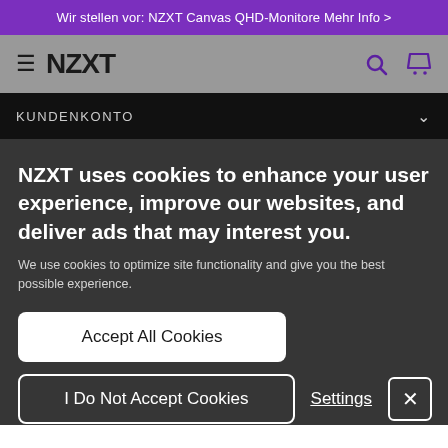Wir stellen vor: NZXT Canvas QHD-Monitore Mehr Info >
[Figure (screenshot): NZXT navigation bar with hamburger menu, NZXT logo, search and cart icons]
KUNDENKONTO
NZXT uses cookies to enhance your user experience, improve our websites, and deliver ads that may interest you.
We use cookies to optimize site functionality and give you the best possible experience.
Accept All Cookies
I Do Not Accept Cookies
Settings